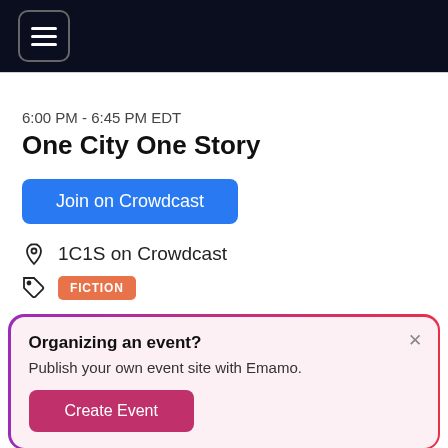[Figure (screenshot): Dark navigation header bar with hamburger menu icon in rounded square]
6:00 PM - 6:45 PM EDT
One City One Story
Join on Crowdcast
1C1S on Crowdcast
FICTION
Organizing an event?
Publish your own event site with Emamo.
Create Event